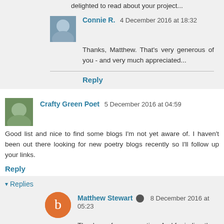delighted to read about your project...
Connie R. 4 December 2016 at 18:32
Thanks, Matthew. That's very generous of you - and very much appreciated...
Reply
Crafty Green Poet 5 December 2016 at 04:59
Good list and nice to find some blogs I'm not yet aware of. I haven't been out there looking for new poetry blogs recently so I'll follow up your links.
Reply
Replies
Matthew Stewart 8 December 2016 at 05:23
Thank you for commenting. And for indirectly